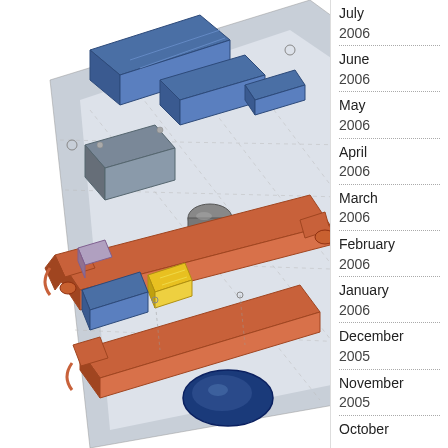[Figure (engineering-diagram): 3D CAD exploded/perspective view of a mechanical assembly board showing multiple components including blue electronic modules, orange/red structural rails, yellow component, cylindrical part, and blue oval component, rendered in SolidWorks-style shading on a light grey baseplate]
July 2006
June 2006
May 2006
April 2006
March 2006
February 2006
January 2006
December 2005
November 2005
October